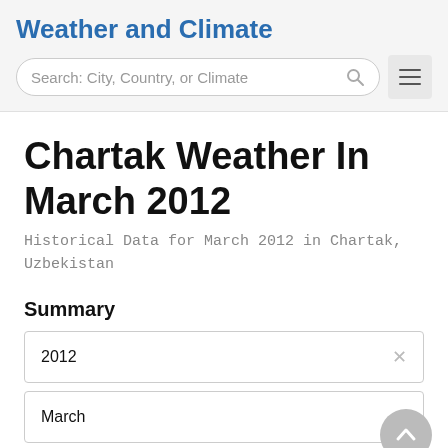Weather and Climate
Search: City, Country, or Climate
Chartak Weather In March 2012
Historical Data for March 2012 in Chartak, Uzbekistan
Summary
2012
March